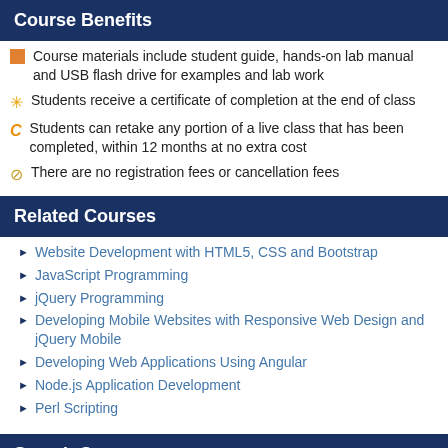Course Benefits
Course materials include student guide, hands-on lab manual and USB flash drive for examples and lab work
Students receive a certificate of completion at the end of class
Students can retake any portion of a live class that has been completed, within 12 months at no extra cost
There are no registration fees or cancellation fees
Related Courses
Website Development with HTML5, CSS and Bootstrap
JavaScript Programming
jQuery Programming
Developing Mobile Websites with Responsive Web Design and jQuery Mobile
Developing Web Applications Using Angular
Node.js Application Development
Perl Scripting
Search Courses